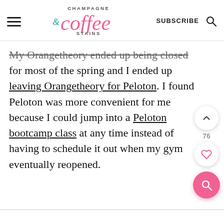CHAMPAGNE & coffee STAINS — SUBSCRIBE [search icon]
My Orangetheory ended up being closed for most of the spring and I ended up leaving Orangetheory for Peloton. I found Peloton was more convenient for me because I could jump into a Peloton bootcamp class at any time instead of having to schedule it out when my gym eventually reopened.